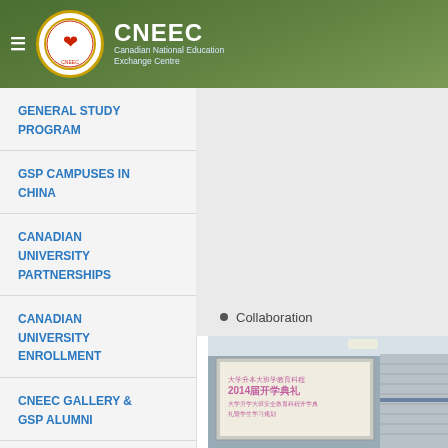CNEEC - Canadian National Education Exchange Centre
GENERAL STUDY PROGRAM
GSP CAMPUSES IN CHINA
CANADIAN UNIVERSITY PARTNERSHIPS
CANADIAN UNIVERSITY ENROLLMENT
CNEEC GALLERY & GSP ALUMNI
REMARKABLE GRADUATES
• Collaboration
[Figure (photo): Photo of a presentation screen displaying Chinese text and '2014届开学典礼' (2014 Opening Ceremony), with stacked white/gray shelving or panels visible in the background]